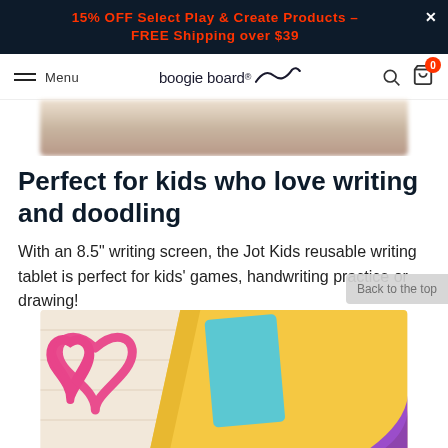15% OFF Select Play & Create Products – FREE Shipping over $39
[Figure (screenshot): Navigation bar with hamburger menu, 'Menu' text, Boogie Board logo with script mark, search icon, and shopping cart icon with red badge showing 0]
[Figure (photo): Blurred product image strip at top of page]
Perfect for kids who love writing and doodling
With an 8.5" writing screen, the Jot Kids reusable writing tablet is perfect for kids' games, handwriting practice or drawing!
[Figure (photo): Photo of colorful craft/toy items on yellow and white surface: pink heart-shaped cookie cutter, blue writing tablet/board, and purple object on the right]